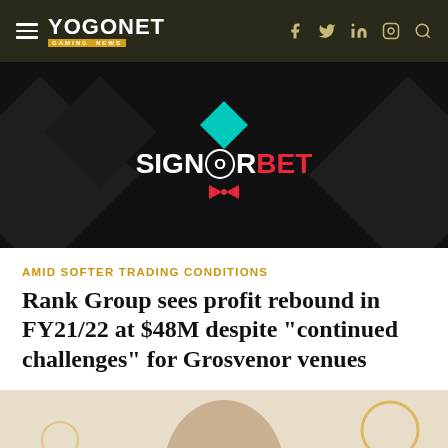YOGONET GAMING NEWS
[Figure (logo): SignorBet advertisement banner on dark background with teal diamond and bowtie graphic]
AMID SOFTER TRADING CONDITIONS
Rank Group sees profit rebound in FY21/22 at $48M despite "continued challenges" for Grosvenor venues
[Figure (photo): Bottom portion of person photograph, partially visible at page bottom]